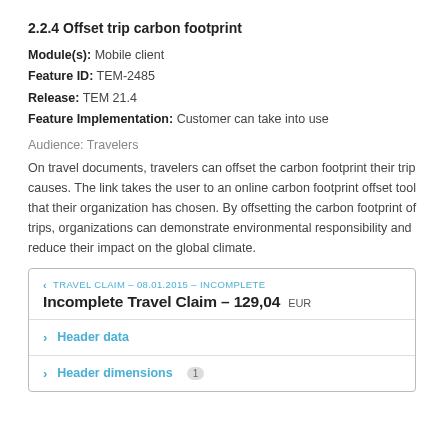2.2.4 Offset trip carbon footprint
Module(s): Mobile client
Feature ID: TEM-2485
Release: TEM 21.4
Feature Implementation: Customer can take into use
Audience: Travelers
On travel documents, travelers can offset the carbon footprint their trip causes. The link takes the user to an online carbon footprint offset tool that their organization has chosen. By offsetting the carbon footprint of trips, organizations can demonstrate environmental responsibility and reduce their impact on the global climate.
[Figure (screenshot): Mobile app screenshot showing a travel claim interface with header 'TRAVEL CLAIM – 08.01.2015 – INCOMPLETE', title 'Incomplete Travel Claim – 129,04 EUR', and expandable sections 'Header data' and 'Header dimensions 1'.]